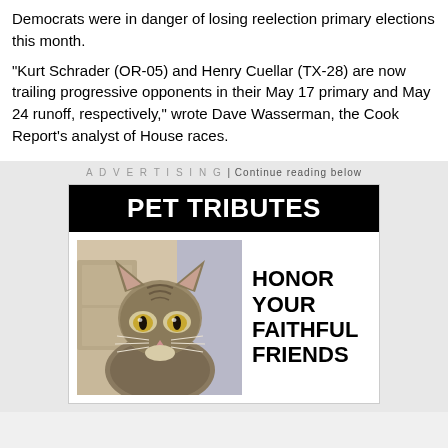Democrats were in danger of losing reelection primary elections this month.
"Kurt Schrader (OR-05) and Henry Cuellar (TX-28) are now trailing progressive opponents in their May 17 primary and May 24 runoff, respectively," wrote Dave Wasserman, the Cook Report's analyst of House races.
ADVERTISING | Continue reading below
[Figure (illustration): Advertisement for Pet Tributes featuring a tabby cat photo and the text 'PET TRIBUTES - HONOR YOUR FAITHFUL FRIENDS']